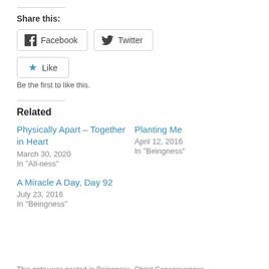Share this:
Facebook  Twitter
Like  Be the first to like this.
Related
Physically Apart – Together in Heart
March 30, 2020
In "All-ness"
Planting Me
April 12, 2016
In "Beingness"
A Miracle A Day, Day 92
July 23, 2016
In "Beingness"
This entry was posted in Beingness, Christ Consciousness…